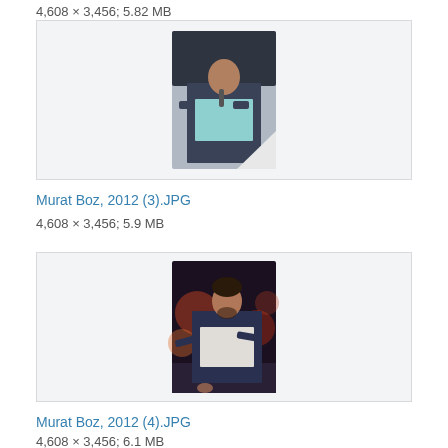4,608 × 3,456; 5.82 MB
[Figure (photo): Photo of a man (Murat Boz) singing on stage, holding a microphone, wearing a dark blazer and light blue shirt]
Murat Boz, 2012 (3).JPG
4,608 × 3,456; 5.9 MB
[Figure (photo): Photo of a man (Murat Boz) performing on stage with colorful lights in background, wearing a dark blazer and white shirt]
Murat Boz, 2012 (4).JPG
4,608 × 3,456; 6.1 MB